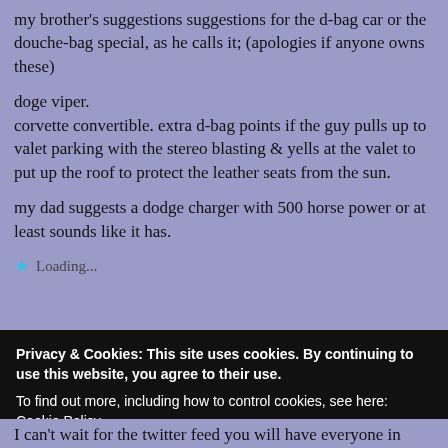my brother's suggestions suggestions for the d-bag car or the douche-bag special, as he calls it; (apologies if anyone owns these)
doge viper.
corvette convertible. extra d-bag points if the guy pulls up to valet parking with the stereo blasting & yells at the valet to put up the roof to protect the leather seats from the sun.
my dad suggests a dodge charger with 500 horse power or at least sounds like it has.
Loading...
Privacy & Cookies: This site uses cookies. By continuing to use this website, you agree to their use.
To find out more, including how to control cookies, see here: Cookie Policy
Close and accept
I can't wait for the twitter feed you will have everyone in